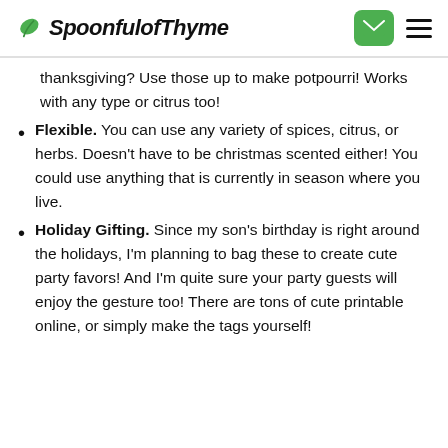SpoonfulofThyme
thanksgiving? Use those up to make potpourri! Works with any type or citrus too!
Flexible. You can use any variety of spices, citrus, or herbs. Doesn't have to be christmas scented either! You could use anything that is currently in season where you live.
Holiday Gifting. Since my son's birthday is right around the holidays, I'm planning to bag these to create cute party favors! And I'm quite sure your party guests will enjoy the gesture too! There are tons of cute printable online, or simply make the tags yourself!